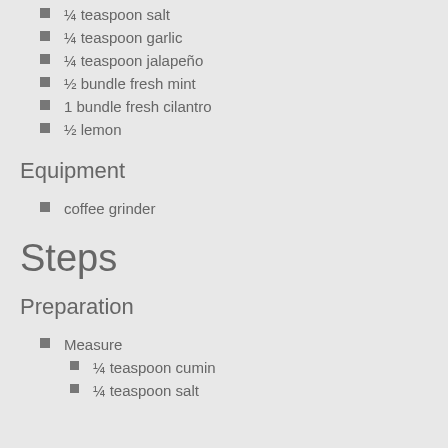¼ teaspoon salt
¼ teaspoon garlic
¼ teaspoon jalapeño
½ bundle fresh mint
1 bundle fresh cilantro
½ lemon
Equipment
coffee grinder
Steps
Preparation
Measure
¼ teaspoon cumin
¼ teaspoon salt